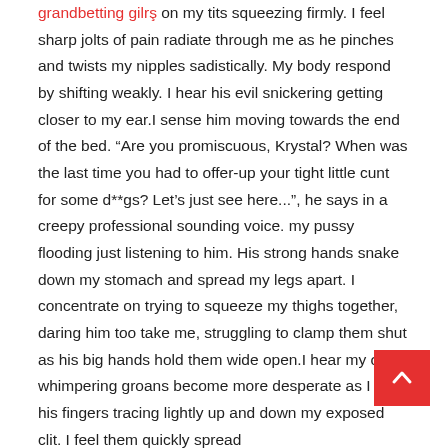grandbetting girls on my tits squeezing firmly. I feel sharp jolts of pain radiate through me as he pinches and twists my nipples sadistically. My body respond by shifting weakly. I hear his evil snickering getting closer to my ear.I sense him moving towards the end of the bed. “Are you promiscuous, Krystal? When was the last time you had to offer-up your tight little cunt for some d**gs? Let’s just see here...”, he says in a creepy professional sounding voice. my pussy flooding just listening to him. His strong hands snake down my stomach and spread my legs apart. I concentrate on trying to squeeze my thighs together, daring him too take me, struggling to clamp them shut as his big hands hold them wide open.I hear my own whimpering groans become more desperate as I feel his fingers tracing lightly up and down my exposed clit. I feel them quickly spread